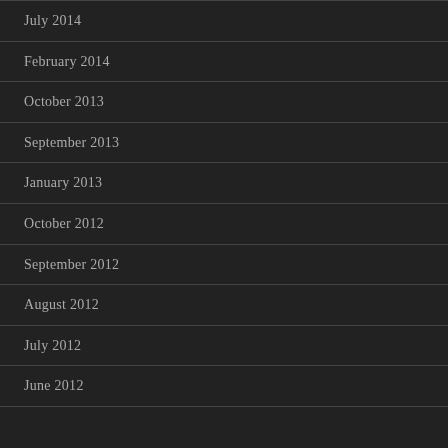July 2014
February 2014
October 2013
September 2013
January 2013
October 2012
September 2012
August 2012
July 2012
June 2012